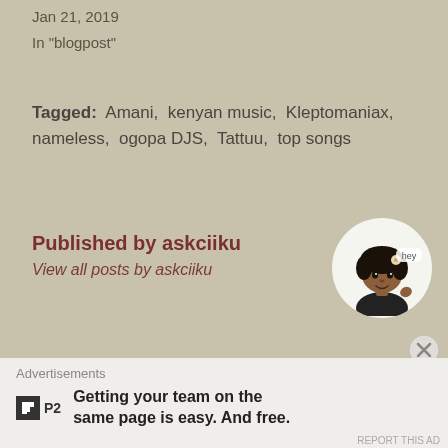Jan 21, 2019
In "blogpost"
Tagged: Amani, kenyan music, Kleptomaniax, nameless, ogopa DJS, Tattuu, top songs
Published by askciiku
View all posts by askciiku
[Figure (illustration): Circular avatar of a cartoon woman character with natural hair, waving, with 'hey' text bubble]
Advertisements
Getting your team on the same page is easy. And free.